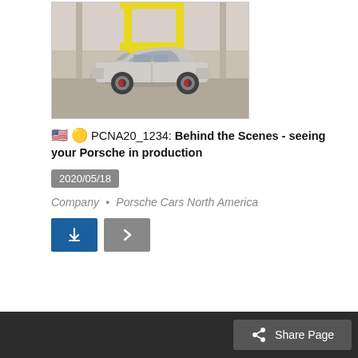[Figure (photo): A silver Porsche 911 on a factory production line with yellow robotic/mechanical equipment above it inside a manufacturing facility.]
🇺🇸 🟡 PCNA20_1234: Behind the Scenes - seeing your Porsche in production
2020/05/18
Company • Porsche Cars North America
Share Page